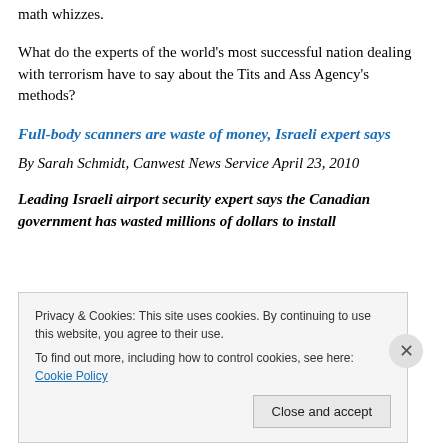math whizzes.
What do the experts of the world's most successful nation dealing with terrorism have to say about the Tits and Ass Agency's methods?
Full-body scanners are waste of money, Israeli expert says
By Sarah Schmidt, Canwest News Service April 23, 2010
Leading Israeli airport security expert says the Canadian government has wasted millions of dollars to install
Privacy & Cookies: This site uses cookies. By continuing to use this website, you agree to their use.
To find out more, including how to control cookies, see here: Cookie Policy